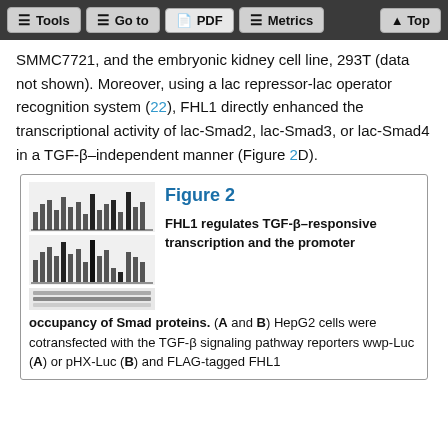Tools | Go to | PDF | Metrics | Top
SMMC7721, and the embryonic kidney cell line, 293T (data not shown). Moreover, using a lac repressor-lac operator recognition system (22), FHL1 directly enhanced the transcriptional activity of lac-Smad2, lac-Smad3, or lac-Smad4 in a TGF-β–independent manner (Figure 2D).
[Figure (other): Thumbnail of Figure 2 showing bar charts and gel blots for FHL1 TGF-β signaling data]
Figure 2 FHL1 regulates TGF-β–responsive transcription and the promoter occupancy of Smad proteins. (A and B) HepG2 cells were cotransfected with the TGF-β signaling pathway reporters wwp-Luc (A) or pHX-Luc (B) and FLAG-tagged FHL1